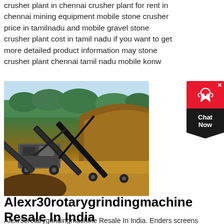crusher plant in chennai crusher plant for rent in chennai mining equipment mobile stone crusher price in tamilnadu and mobile gravel stone crusher plant cost in tamil nadu if you want to get more detailed product information may stone crusher plant chennai tamil nadu mobile konw
get price
[Figure (photo): A mobile stone crusher plant with conveyor belts at a mining site, with red-brown dirt hillside and green trees in the background.]
[Figure (other): Chat Now widget with red headset icon and dark diamond shape]
Alexr30rotarygrindingmachine Resale In India
Alexr30rotarygrindingmachine Resale In India. Enders screens crushers bazamas enders persons crushers keep enders